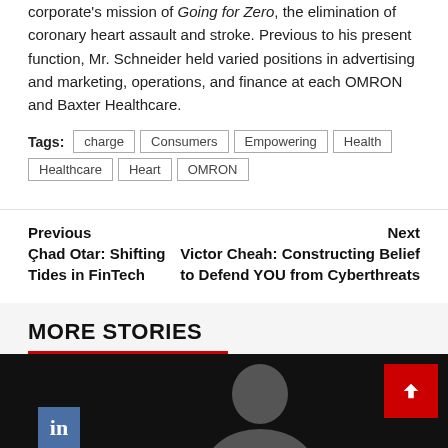operations, all of that are important in advancing the corporate's mission of Going for Zero, the elimination of coronary heart assault and stroke. Previous to his present function, Mr. Schneider held varied positions in advertising and marketing, operations, and finance at each OMRON and Baxter Healthcare.
Tags: charge | Consumers | Empowering | Health | Healthcare | Heart | OMRON
Previous: Chad Otar: Shifting Tides in FinTech | Next: Victor Cheah: Constructing Belief to Defend YOU from Cyberthreats
MORE STORIES
[Figure (photo): Dark background photo showing a person, with a LinkedIn icon and a red back-to-top button in the upper right corner.]